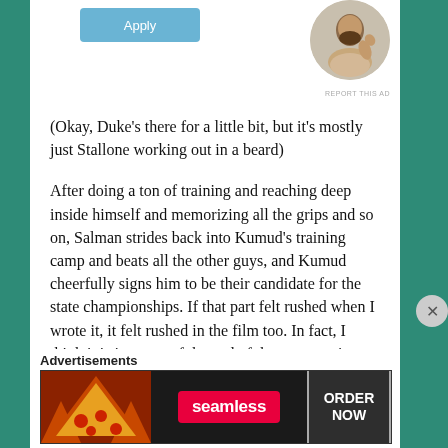[Figure (other): Apply button (light blue rounded rectangle) with text 'Apply']
[Figure (photo): Circular profile photo of a bearded man sitting at a desk thinking]
REPORT THIS AD
(Okay, Duke's there for a little bit, but it's mostly just Stallone working out in a beard)
After doing a ton of training and reaching deep inside himself and memorizing all the grips and so on, Salman strides back into Kumud's training camp and beats all the other guys, and Kumud cheerfully signs him to be their candidate for the state championships. If that part felt rushed when I wrote it, it felt rushed in the film too. In fact, I think it is just part of the end of the song, seeing him show up, same rapid cuts of the fights, and then Kumud
Advertisements
[Figure (other): Seamless food delivery advertisement banner with pizza image on left, Seamless logo in center, and ORDER NOW button on right]